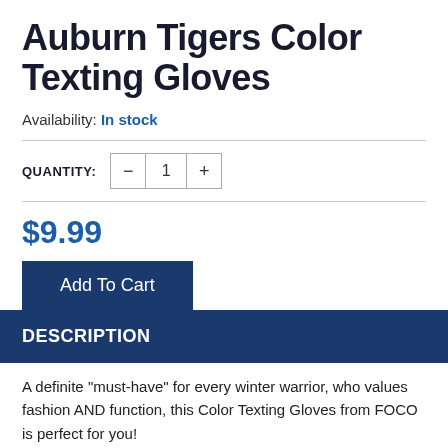Auburn Tigers Color Texting Gloves
Availability: In stock
QUANTITY: 1
$9.99
Add To Cart
DESCRIPTION
A definite "must-have" for every winter warrior, who values fashion AND function, this Color Texting Gloves from FOCO is perfect for you! Featuring texting tips and lined with fleece, these gloves are soft to touch, and will keep your hands warm.